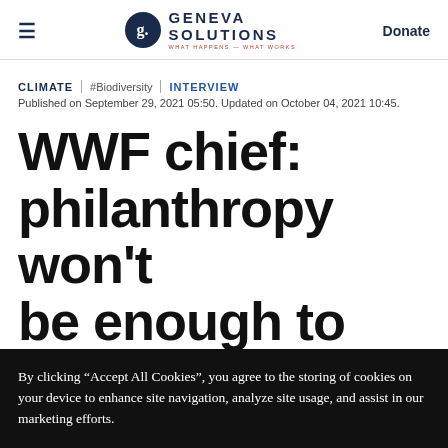Geneva Solutions — Donate
CLIMATE | #Biodiversity | INTERVIEW
Published on September 29, 2021 05:50. Updated on October 04, 2021 10:45.
WWF chief: philanthropy won't be enough to
By clicking “Accept All Cookies”, you agree to the storing of cookies on your device to enhance site navigation, analyze site usage, and assist in our marketing efforts.